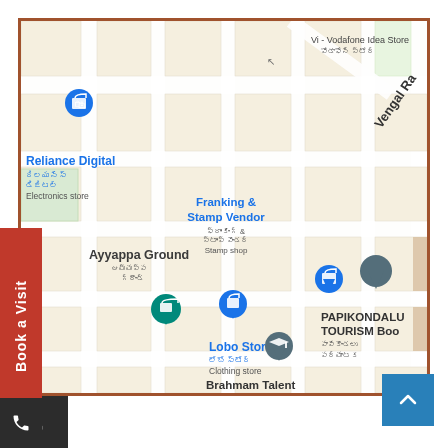[Figure (map): Google Maps screenshot showing streets in what appears to be an Indian city (Andhra Pradesh region). Visible landmarks include: Reliance Digital (Electronics store), Vi - Vodafone Idea Store, Franking & Stamp Vendor (Stamp shop), Ayyappa Ground, Lobo Store (Clothing store), PAPIKONDALU TOURISM Boo, Brahmam Talent High School. Street label: Vengal Ra. Various map pins in blue and teal are visible. Text labels appear in both English and Telugu script.]
Book a Visit